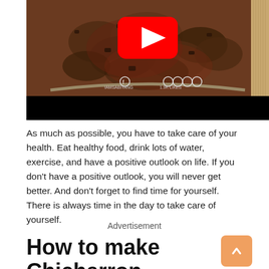[Figure (screenshot): YouTube video thumbnail showing a bowl of chicharron prensado (braised pork dish) with a red YouTube play button overlay, and a black video control bar at the bottom]
As much as possible, you have to take care of your health. Eat healthy food, drink lots of water, exercise, and have a positive outlook on life. If you don't have a positive outlook, you will never get better. And don't forget to find time for yourself. There is always time in the day to take care of yourself.
Advertisement
How to make Chicharron prensado, endnote